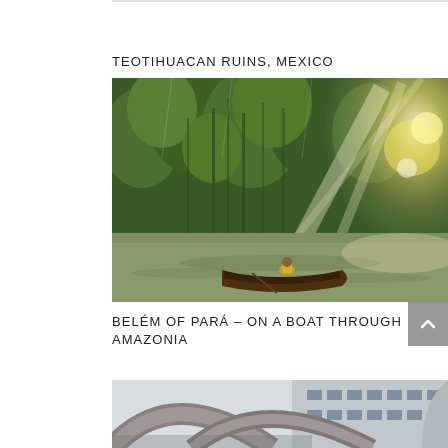TEOTIHUACAN RUINS, MEXICO
[Figure (photo): Photo of a wooden boat with a person in a yellow top, floating on a muddy river surrounded by dense green mangrove trees, with sunlight rays and lens flare through the canopy.]
BELÉM OF PARÁ – ON A BOAT THROUGH AMAZONIA
[Figure (photo): Photo showing concrete arches and a curved modern building facade, viewed from below.]